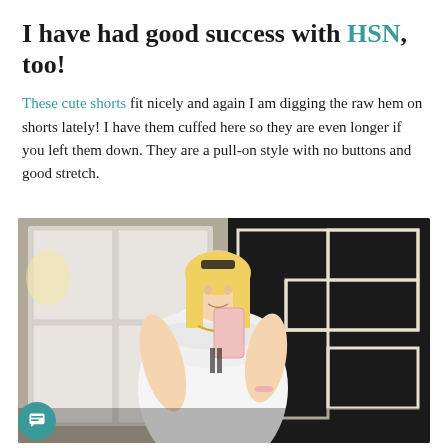I have had good success with HSN, too!
These cute shorts fit nicely and again I am digging the raw hem on shorts lately! I have them cuffed here so they are even longer if you left them down. They are a pull-on style with no buttons and good stretch.
[Figure (photo): A blonde woman in a white ruffled dress taking a mirror selfie with a pink phone, standing in front of a black and white geometric wall panel.]